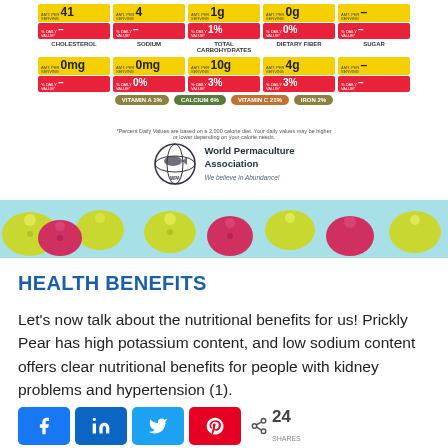[Figure (infographic): Nutrition facts label top section showing cholesterol 0mg, sodium 0mg, total carbohydrates 10g (3% DV), dietary fiber 4g (3% DV), sugar dash; plus top row with values 41, 4, 1g (1% DV), 0g (0%), dash]
[Figure (infographic): Vitamin bar: Vitamin A 1%, Calcium 6%, Vitamin C 21%, Iron 2%]
*Percent Daily Values are based on a 2,000 calorie diet. Your daily values may be higher or lower depending on your calorie needs.
[Figure (logo): World Permaculture Association logo with fish/globe icon and tagline 'We believe in Abundance!']
[Figure (illustration): Decorative banner with colorful prickly pear cactus fruits (yellow-green and red-pink) on a light blue background]
HEALTH BENEFITS
Let's now talk about the nutritional benefits for us! Prickly Pear has high potassium content, and low sodium content offers clear nutritional benefits for people with kidney problems and hypertension (1).
[Figure (infographic): Social share buttons: Facebook, LinkedIn, Twitter, Pinterest, and share count 24 SHARES]